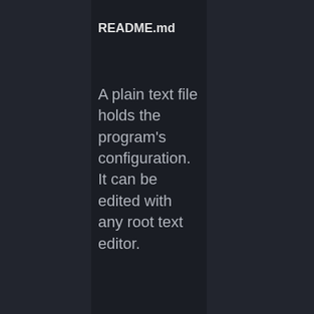README.md
A plain text file holds the program's configuration. It can be edited with any root text editor.